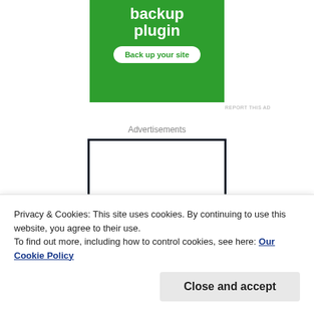[Figure (other): Green advertisement banner showing 'backup plugin' title and 'Back up your site' button]
REPORT THIS AD
Advertisements
[Figure (other): Advertisement box with dark border showing partial text 'Opinions']
Privacy & Cookies: This site uses cookies. By continuing to use this website, you agree to their use.
To find out more, including how to control cookies, see here: Our Cookie Policy
Close and accept